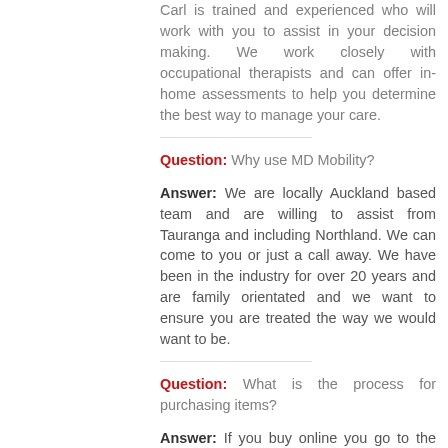Carl is trained and experienced who will work with you to assist in your decision making. We work closely with occupational therapists and can offer in-home assessments to help you determine the best way to manage your care.
Question: Why use MD Mobility?
Answer: We are locally Auckland based team and are willing to assist from Tauranga and including Northland. We can come to you or just a call away. We have been in the industry for over 20 years and are family orientated and we want to ensure you are treated the way we would want to be.
Question: What is the process for purchasing items?
Answer: If you buy online you go to the purchase item and it will send an email to us. We will send you an invoice for the item and confirm your address. Once payment is received we will send out the item and confirm delivery date.